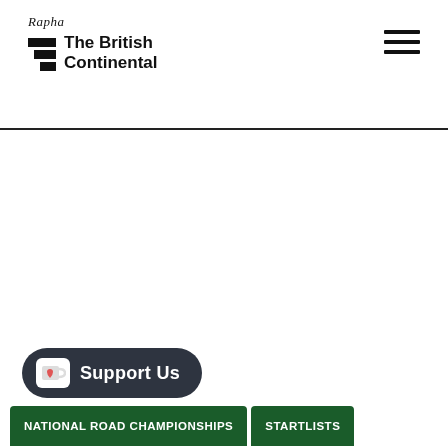Rapha The British Continental
[Figure (logo): Rapha and The British Continental logo with stacked bars icon]
Support Us
NATIONAL ROAD CHAMPIONSHIPS
STARTLISTS